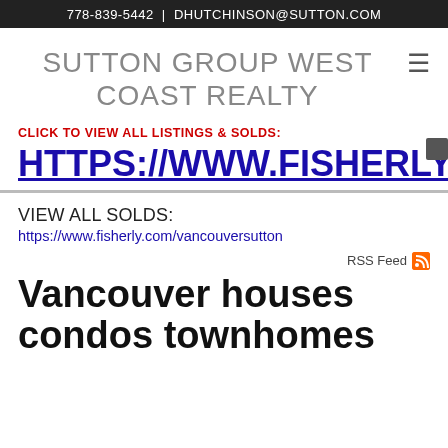778-839-5442 | DHUTCHINSON@SUTTON.COM
SUTTON GROUP WEST COAST REALTY
CLICK TO VIEW ALL LISTINGS & SOLDS:
HTTPS://WWW.FISHERLY.COM/
VIEW ALL SOLDS:
https://www.fisherly.com/vancouversutton
RSS Feed
Vancouver houses condos townhomes